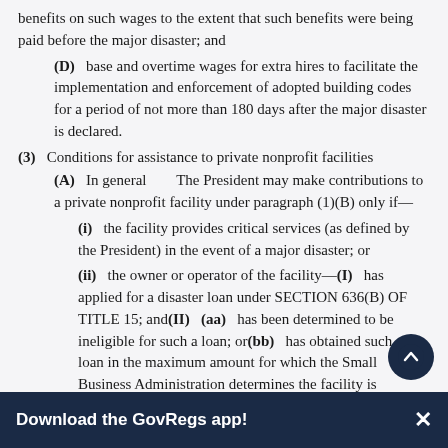benefits on such wages to the extent that such benefits were being paid before the major disaster; and
(D) base and overtime wages for extra hires to facilitate the implementation and enforcement of adopted building codes for a period of not more than 180 days after the major disaster is declared.
(3) Conditions for assistance to private nonprofit facilities
(A) In general   The President may make contributions to a private nonprofit facility under paragraph (1)(B) only if—
(i) the facility provides critical services (as defined by the President) in the event of a major disaster; or
(ii) the owner or operator of the facility—(I) has applied for a disaster loan under SECTION 636(B) OF TITLE 15; and(II) (aa) has been determined to be ineligible for such a loan; or(bb) has obtained such a loan in the maximum amount for which the Small Business Administration determines the facility is
Download the GovRegs app!